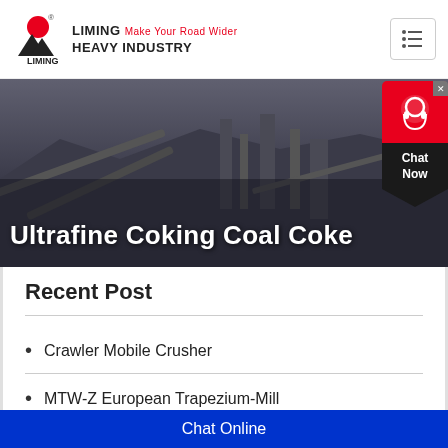[Figure (logo): Liming Heavy Industry logo with red circle and black mountain/triangle shapes, brand name and tagline]
[Figure (photo): Industrial mining/crushing plant equipment with conveyors and machinery against a dark sky background]
Ultrafine Coking Coal Coke
Recent Post
Crawler Mobile Crusher
MTW-Z European Trapezium-Mill
K Series Mobile Crushing Plant
Chat Online